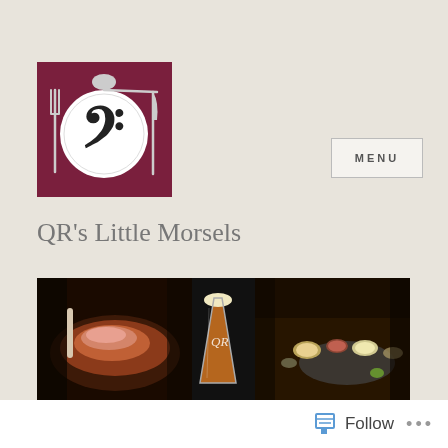[Figure (logo): QR's Little Morsels logo: dark red square background with a white plate bearing a bass clef music symbol, flanked by a fork on the left and a knife on the right, with a spoon resting on top]
[Figure (other): Navigation MENU button — rectangular button with border and text 'MENU' in bold spaced capitals]
QR's Little Morsels
[Figure (photo): Hero banner with three food/drink images side by side: left panel shows a large roasted prime rib/beef joint, center panel shows a pint glass of amber beer with 'QR' etched on it, right panel shows a dark table with multiple small bowls and plates of Asian-style dishes]
In Praise of a Good Butcher
Follow •••